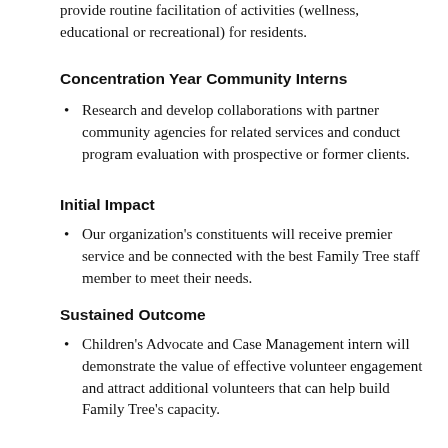provide routine facilitation of activities (wellness, educational or recreational) for residents.
Concentration Year Community Interns
Research and develop collaborations with partner community agencies for related services and conduct program evaluation with prospective or former clients.
Initial Impact
Our organization's constituents will receive premier service and be connected with the best Family Tree staff member to meet their needs.
Sustained Outcome
Children's Advocate and Case Management intern will demonstrate the value of effective volunteer engagement and attract additional volunteers that can help build Family Tree's capacity.